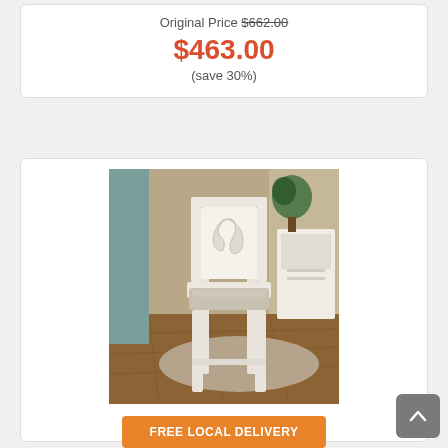Original Price $662.00
$463.00
(save 30%)
[Figure (photo): White ornate dining chair with upholstered gray seat and decorative carved back, shown in a room setting with wood floors and a white shelving unit in background.]
FREE LOCAL DELIVERY